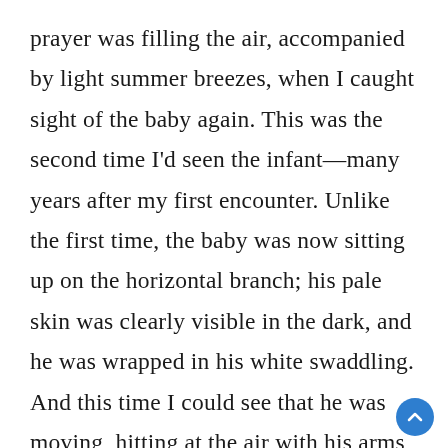prayer was filling the air, accompanied by light summer breezes, when I caught sight of the baby again. This was the second time I'd seen the infant—many years after my first encounter. Unlike the first time, the baby was now sitting up on the horizontal branch; his pale skin was clearly visible in the dark, and he was wrapped in his white swaddling. And this time I could see that he was moving, hitting at the air with his arms as if trying to escape something, or waving for his father